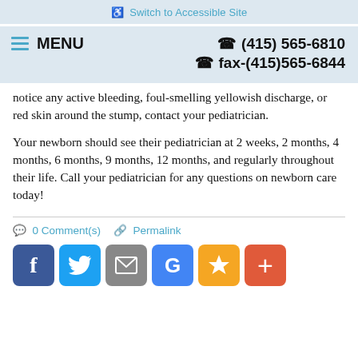♿ Switch to Accessible Site
≡ MENU   ☎ (415) 565-6810   ☎ fax-(415)565-6844
notice any active bleeding, foul-smelling yellowish discharge, or red skin around the stump, contact your pediatrician.
Your newborn should see their pediatrician at 2 weeks, 2 months, 4 months, 6 months, 9 months, 12 months, and regularly throughout their life. Call your pediatrician for any questions on newborn care today!
💬 0 Comment(s)   🔗 Permalink
[Figure (infographic): Social media sharing icons: Facebook (blue), Twitter (light blue), Email (gray), Google (blue), Star/Bookmark (orange), Plus/Add (orange-red)]